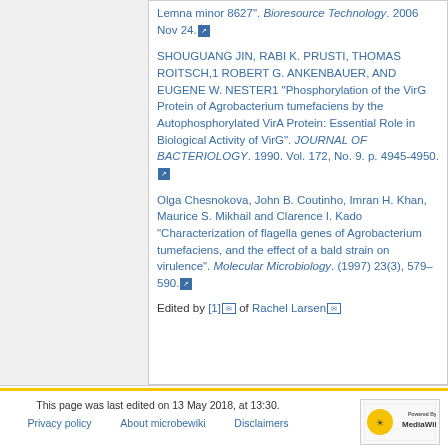Lemna minor 8627". Bioresource Technology. 2006 Nov 24.
SHOUGUANG JIN, RABI K. PRUSTI, THOMAS ROITSCH,1 ROBERT G. ANKENBAUER, AND EUGENE W. NESTER1 "Phosphorylation of the VirG Protein of Agrobacterium tumefaciens by the Autophosphorylated VirA Protein: Essential Role in Biological Activity of VirG". JOURNAL OF BACTERIOLOGY. 1990. Vol. 172, No. 9. p. 4945-4950.
Olga Chesnokova, John B. Coutinho, Imran H. Khan, Maurice S. Mikhail and Clarence I. Kado "Characterization of flagella genes of Agrobacterium tumefaciens, and the effect of a bald strain on virulence". Molecular Microbiology. (1997) 23(3), 579–590.
Edited by [1] of Rachel Larsen
This page was last edited on 13 May 2018, at 13:30. | Privacy policy | About microbewiki | Disclaimers